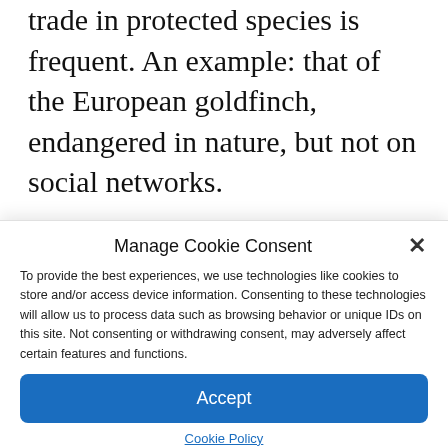trade in protected species is frequent. An example: that of the European goldfinch, endangered in nature, but not on social networks.
Victim of its beauty and its vocal cords, it lives in the trees and has no housing problem. Victim of poaching, its population
Manage Cookie Consent
To provide the best experiences, we use technologies like cookies to store and/or access device information. Consenting to these technologies will allow us to process data such as browsing behavior or unique IDs on this site. Not consenting or withdrawing consent, may adversely affect certain features and functions.
Accept
Cookie Policy